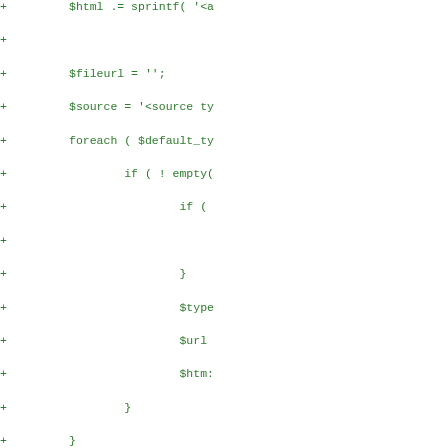[Figure (screenshot): Code diff screenshot showing PHP code additions (lines marked with +) in green monospace font on white background. The code shows PHP functions involving $html, $fileurl, $source, foreach loop, if conditions, $type, $url, mediaelement check, wp_r call, audio tag, and a PHPDoc comment block with @since 3.6.0 and multiple @param annotations, ending with return apply_filters.]